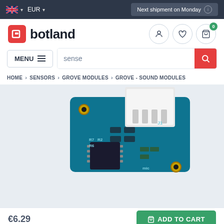UK EUR | Next shipment on Monday
[Figure (logo): Botland logo - red square with B icon and 'botland' text]
MENU
sense
HOME > SENSORS > GROVE MODULES > GROVE - SOUND MODULES
[Figure (photo): Grove sound sensor module - teal PCB with white JST connector, R2, R7, R6 resistors, mic label, J1 label]
€6.29
ADD TO CART